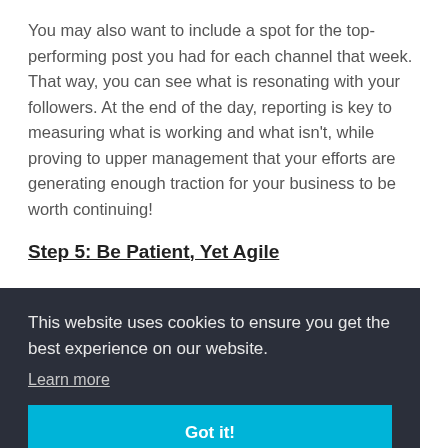You may also want to include a spot for the top-performing post you had for each channel that week. That way, you can see what is resonating with your followers. At the end of the day, reporting is key to measuring what is working and what isn't, while proving to upper management that your efforts are generating enough traction for your business to be worth continuing!
Step 5: Be Patient, Yet Agile
This website uses cookies to ensure you get the best experience on our website.
Learn more
Got it!
An additional frustration is that how social media